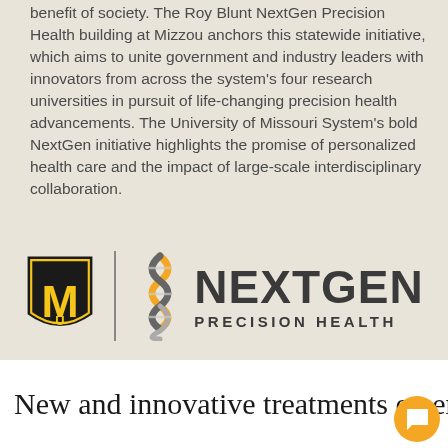benefit of society. The Roy Blunt NextGen Precision Health building at Mizzou anchors this statewide initiative, which aims to unite government and industry leaders with innovators from across the system's four research universities in pursuit of life-changing precision health advancements. The University of Missouri System's bold NextGen initiative highlights the promise of personalized health care and the impact of large-scale interdisciplinary collaboration.
[Figure (logo): MU (University of Missouri) shield logo on the left, a vertical divider line, and a DNA helix graphic followed by 'NEXTGEN PRECISION HEALTH' text logo on the right]
New and innovative treatments emerg